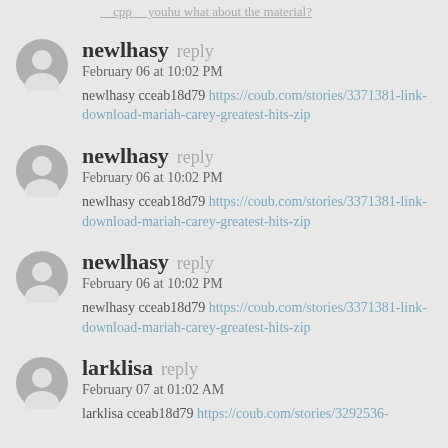__cpp__ youhu what about the material?
newlhasy reply
February 06 at 10:02 PM
newlhasy cceab18d79 https://coub.com/stories/3371381-link-download-mariah-carey-greatest-hits-zip
newlhasy reply
February 06 at 10:02 PM
newlhasy cceab18d79 https://coub.com/stories/3371381-link-download-mariah-carey-greatest-hits-zip
newlhasy reply
February 06 at 10:02 PM
newlhasy cceab18d79 https://coub.com/stories/3371381-link-download-mariah-carey-greatest-hits-zip
larklisa reply
February 07 at 01:02 AM
larklisa cceab18d79 https://coub.com/stories/3292536-